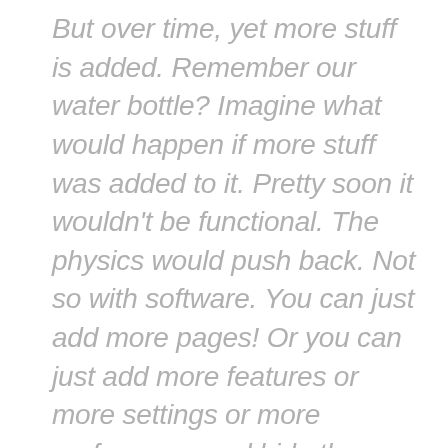But over time, yet more stuff is added. Remember our water bottle? Imagine what would happen if more stuff was added to it. Pretty soon it wouldn't be functional. The physics would push back. Not so with software. You can just add more pages! Or you can just add more features or more settings or more preferences and hide them behind yet another button or menu. It's just one more button, right?